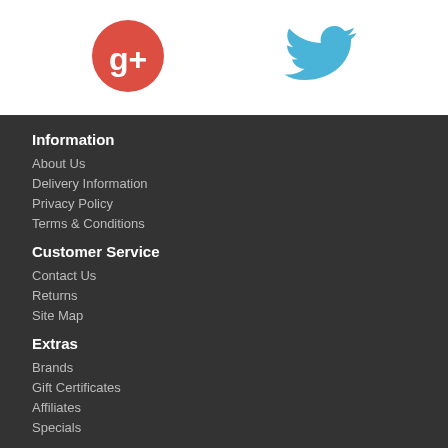[Figure (logo): Google+ red circle logo with white g+ text]
[Figure (logo): Twitter bird icon in blue]
Information
About Us
Delivery Information
Privacy Policy
Terms & Conditions
Customer Service
Contact Us
Returns
Site Map
Extras
Brands
Gift Certificates
Affiliates
Specials
My Account
My Account